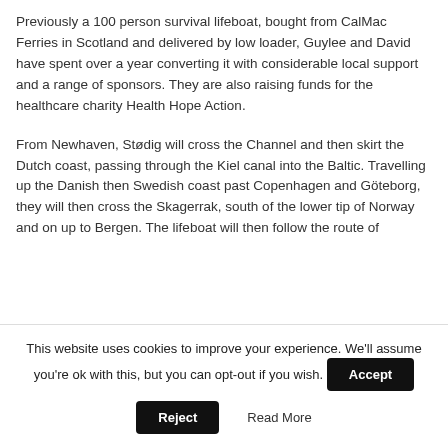Previously a 100 person survival lifeboat, bought from CalMac Ferries in Scotland and delivered by low loader, Guylee and David have spent over a year converting it with considerable local support and a range of sponsors. They are also raising funds for the healthcare charity Health Hope Action.
From Newhaven, Stødig will cross the Channel and then skirt the Dutch coast, passing through the Kiel canal into the Baltic. Travelling up the Danish then Swedish coast past Copenhagen and Göteborg, they will then cross the Skagerrak, south of the lower tip of Norway and on up to Bergen. The lifeboat will then follow the route of
This website uses cookies to improve your experience. We'll assume you're ok with this, but you can opt-out if you wish.